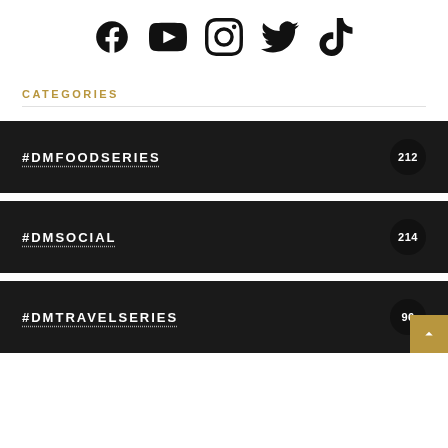[Figure (illustration): Row of 5 social media icons: Facebook, YouTube, Instagram, Twitter, TikTok]
CATEGORIES
#DMFOODSERIES 212
#DMSOCIAL 214
#DMTRAVELSERIES 96